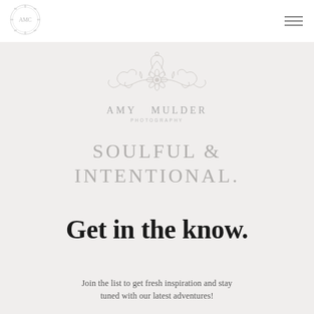[Figure (logo): Circular ornamental monogram logo for Amy Mulder Photography in top left]
[Figure (illustration): Hamburger/menu icon with three horizontal lines in top right]
[Figure (illustration): Decorative floral/scroll ornament centered below nav bar]
AMY MULDER PHOTOGRAPHY
SOULFUL & INTENTIONAL.
Get in the know.
Join the list to get fresh inspiration and stay tuned with our latest adventures!